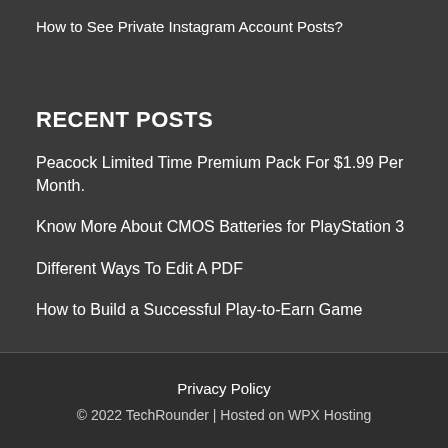How to See Private Instagram Account Posts?
RECENT POSTS
Peacock Limited Time Premium Pack For $1.99 Per Month.
Know More About CMOS Batteries for PlayStation 3
Different Ways To Edit A PDF
How to Build a Successful Play-to-Earn Game
Privacy Policy
© 2022 TechRounder | Hosted on WPX Hosting